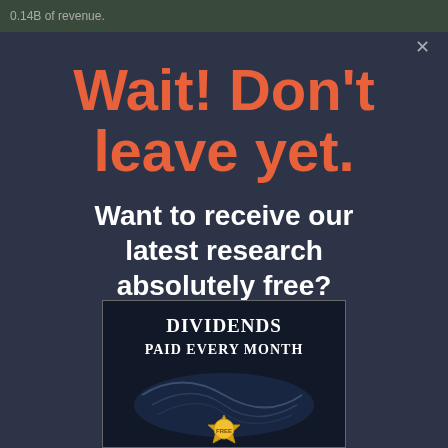0.14B of revenue.
Wait! Don't leave yet.
Want to receive our latest research absolutely free?
[Figure (illustration): Book cover titled 'Dividends Paid Every Month' with decorative swirl artwork and a gold seal badge at the bottom]